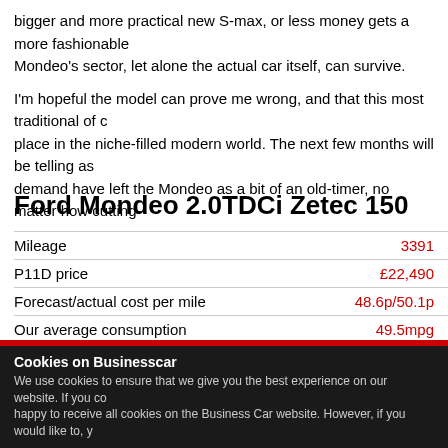bigger and more practical new S-max, or less money gets a more fashionable Mondeo's sector, let alone the actual car itself, can survive.
I'm hopeful the model can prove me wrong, and that this most traditional of c place in the niche-filled modern world. The next few months will be telling as demand have left the Mondeo as a bit of an old-timer, no matter how cutting-
Ford Mondeo 2.0TDCi Zetec 150
|  |  |
| --- | --- |
| Mileage | 3391 |
| P11D price | £22,490 |
| Forecast/actual cost per mile | 48.6p/50.1p |
| Our average consumption | 49.5mpg |
| Official combined consumption | 68.9pg |
Verdict
Is it still relevant?
Cookies on Businesscar
We use cookies to ensure that we give you the best experience on our website. If you co happy to receive all cookies on the Business Car website. However, if you would like to, y